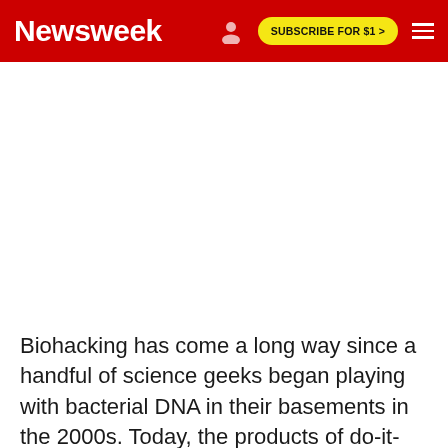Newsweek — SUBSCRIBE FOR $1 >
[Figure (other): Large white advertisement/image placeholder area below the Newsweek navigation header]
Biohacking has come a long way since a handful of science geeks began playing with bacterial DNA in their basements in the 2000s. Today, the products of do-it-yourself biology